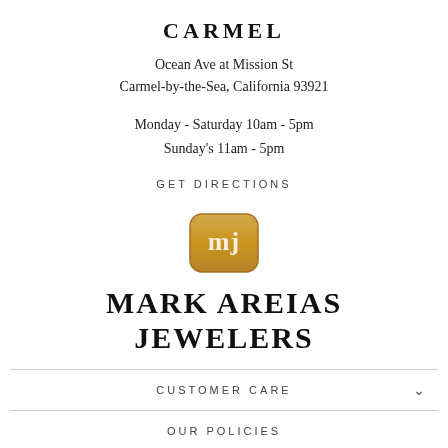CARMEL
Ocean Ave at Mission St
Carmel-by-the-Sea, California 93921
Monday - Saturday 10am - 5pm
Sunday's 11am - 5pm
GET DIRECTIONS
[Figure (logo): Mark Areias Jewelers logo — gold rounded rectangle badge with stylized 'mj' initials in white]
MARK AREIAS JEWELERS
CUSTOMER CARE
OUR POLICIES